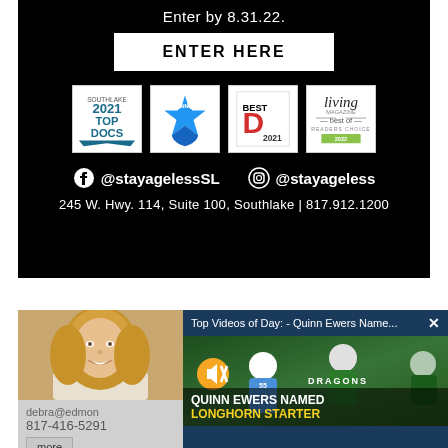Enter by 8.31.22.
ENTER HERE
[Figure (infographic): Four award badges: 2021 Top Docs (Southlake), Winner badge with blue star, Best D 2021, Living Magazine Best of Reader's Choice 2022]
@stayagelessSL  @stayageless
245 W. Hwy. 114, Suite 100, Southlake | 817.912.1200
[Figure (photo): Woman with blonde hair smiling, realtor headshot. Partial text: debra@edmon..., 817-416-5291, more button]
[Figure (screenshot): Video overlay: 'Top Videos of Day: - Quinn Ewers Name...' with X close button. Video thumbnail shows football players in Dragons uniforms. Text overlay: QUINN EWERS NAMED LONGHORN STARTER]